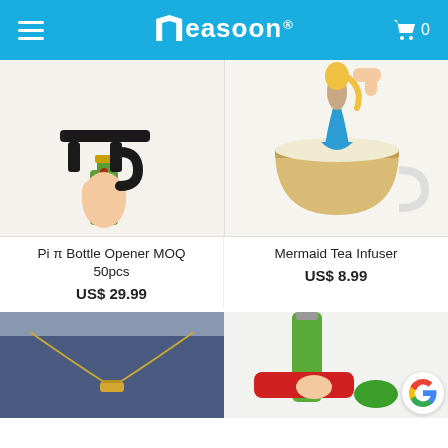Measoon®
[Figure (photo): Hand holding a black Pi π shaped bottle opener over a green glass bottle]
Pi π Bottle Opener MOQ 50pcs
US$ 29.99
[Figure (photo): Mermaid shaped tea infuser dipped into a glass cup of tea, held by a hand]
Mermaid Tea Infuser
US$ 8.99
[Figure (photo): Gold chain necklace with cylindrical pendant on dark blue paper background]
[Figure (photo): Green bottle with red lighter/opener and green object below, bottle cap being removed]